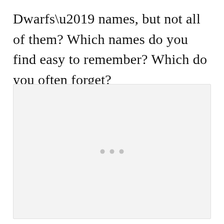Dwarfs’ names, but not all of them? Which names do you find easy to remember? Which do you often forget?
[Figure (other): A light gray blank box with three small gray dots centered in the lower-middle area, suggesting a loading or placeholder image area.]